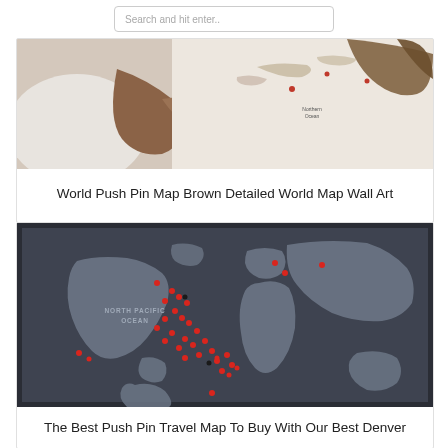Search and hit enter..
[Figure (photo): Person touching a brown detailed world push pin map wall art mounted on a wall]
World Push Pin Map Brown Detailed World Map Wall Art
[Figure (photo): Framed dark navy blue world push pin travel map with red and black pins marking visited locations, showing North Pacific Ocean label]
The Best Push Pin Travel Map To Buy With Our Best Denver